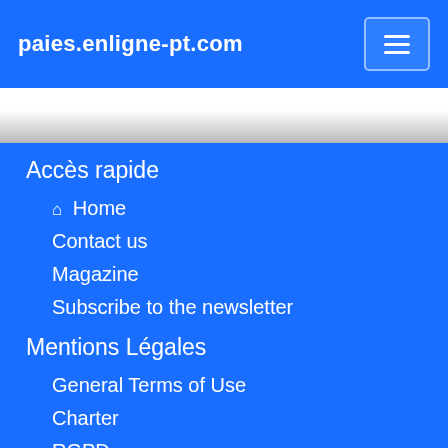paies.enligne-pt.com
Accès rapide
Home
Contact us
Magazine
Subscribe to the newsletter
Mentions Légales
General Terms of Use
Charter
RGPD
Remove a post
Suivez-nous
J'aime   Partager